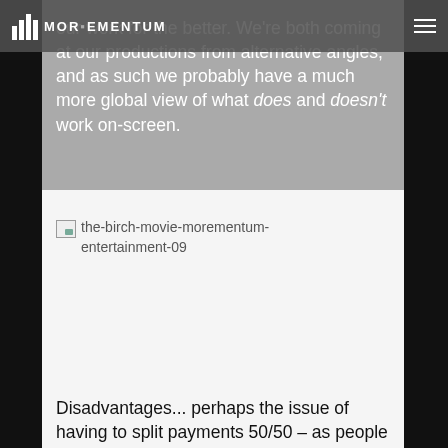MOREMENTUM
our work for the better. We're both coming at our productions from alternative angles, and as such we probably have a much more global view of what does and doesn't work on-screen.
[Figure (photo): Broken image placeholder labeled 'the-birch-movie-morementum-entertainment-09']
Disadvantages... perhaps the issue of having to split payments 50/50 – as people